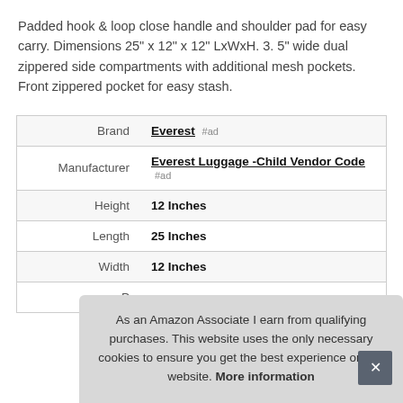Padded hook & loop close handle and shoulder pad for easy carry. Dimensions 25" x 12" x 12" LxWxH. 3. 5" wide dual zippered side compartments with additional mesh pockets. Front zippered pocket for easy stash.
|  |  |
| --- | --- |
| Brand | Everest #ad |
| Manufacturer | Everest Luggage -Child Vendor Code #ad |
| Height | 12 Inches |
| Length | 25 Inches |
| Width | 12 Inches |
| P |  |
As an Amazon Associate I earn from qualifying purchases. This website uses the only necessary cookies to ensure you get the best experience on our website. More information